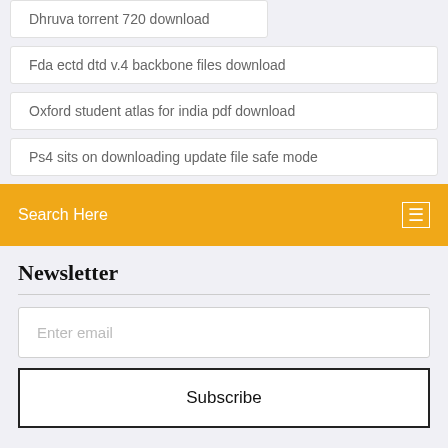Dhruva torrent 720 download
Fda ectd dtd v.4 backbone files download
Oxford student atlas for india pdf download
Ps4 sits on downloading update file safe mode
Search Here
Newsletter
Enter email
Subscribe